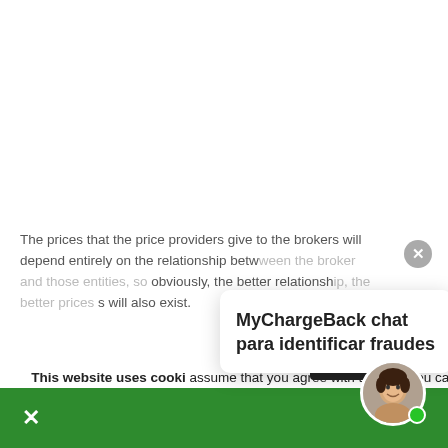The prices that the price providers give to the brokers will depend entirely on the relationship between the broker and those entities, so obviously, the better relationship, the better prices will also exist.
This website uses cookies. By continuing to use this website, you assume that you agree with this, but you can not accept if
[Figure (screenshot): Chat widget popup box with text 'MyChargeBack chat para identificar fraudes']
[Figure (photo): Avatar photo of a smiling woman with short dark hair, shown in a circular frame with a green online indicator dot, positioned in the bottom-right corner over a green bar.]